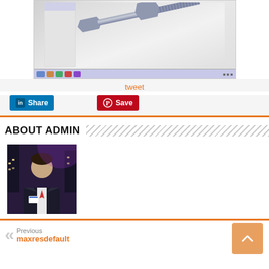[Figure (screenshot): CAD software screenshot showing a 3D model of a bolt and nut assembly rendered in gray]
tweet
[Figure (other): LinkedIn Share button]
[Figure (other): Pinterest Save button]
ABOUT ADMIN
[Figure (photo): Photo of a man in a suit with a conference badge, purple/dark background]
Previous
maxresdefault